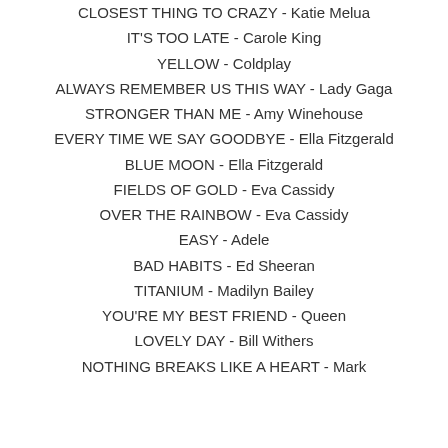CLOSEST THING TO CRAZY - Katie Melua
IT'S TOO LATE - Carole King
YELLOW - Coldplay
ALWAYS REMEMBER US THIS WAY - Lady Gaga
STRONGER THAN ME - Amy Winehouse
EVERY TIME WE SAY GOODBYE - Ella Fitzgerald
BLUE MOON - Ella Fitzgerald
FIELDS OF GOLD - Eva Cassidy
OVER THE RAINBOW - Eva Cassidy
EASY - Adele
BAD HABITS - Ed Sheeran
TITANIUM - Madilyn Bailey
YOU'RE MY BEST FRIEND - Queen
LOVELY DAY - Bill Withers
NOTHING BREAKS LIKE A HEART - Mark